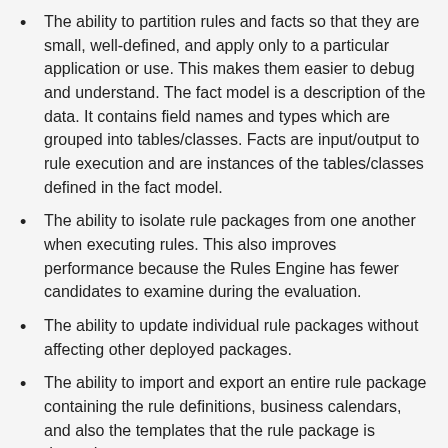The ability to partition rules and facts so that they are small, well-defined, and apply only to a particular application or use. This makes them easier to debug and understand. The fact model is a description of the data. It contains field names and types which are grouped into tables/classes. Facts are input/output to rule execution and are instances of the tables/classes defined in the fact model.
The ability to isolate rule packages from one another when executing rules. This also improves performance because the Rules Engine has fewer candidates to examine during the evaluation.
The ability to update individual rule packages without affecting other deployed packages.
The ability to import and export an entire rule package containing the rule definitions, business calendars, and also the templates that the rule package is dependent on.
A rule package contains one or more rules plus the fact model that is needed to support the rules. You